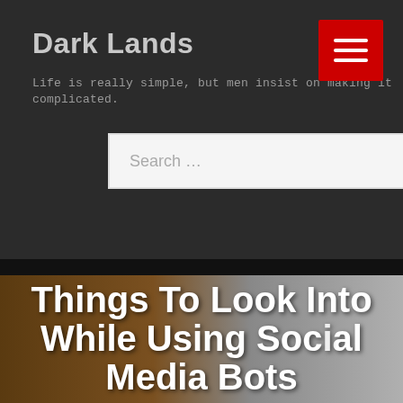Dark Lands
Life is really simple, but men insist on making it complicated.
[Figure (screenshot): Search bar with white input field showing 'Search ...' placeholder and a red 'Search' button]
[Figure (photo): Background photo of a person in a brown jacket with gray background on the right side, overlaid with large white bold article title text]
Things To Look Into While Using Social Media Bots